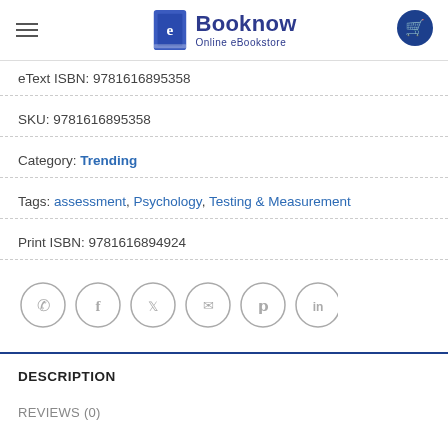Booknow Online eBookstore
eText ISBN: 9781616895358
SKU: 9781616895358
Category: Trending
Tags: assessment, Psychology, Testing & Measurement
Print ISBN: 9781616894924
[Figure (other): Social share icons: WhatsApp, Facebook, Twitter, Email, Pinterest, LinkedIn]
DESCRIPTION
REVIEWS (0)